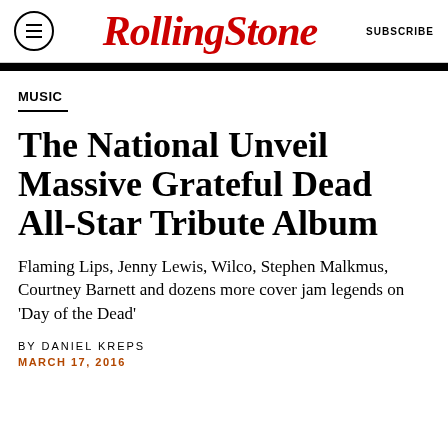Rolling Stone  SUBSCRIBE
MUSIC
The National Unveil Massive Grateful Dead All-Star Tribute Album
Flaming Lips, Jenny Lewis, Wilco, Stephen Malkmus, Courtney Barnett and dozens more cover jam legends on 'Day of the Dead'
BY DANIEL KREPS
MARCH 17, 2016